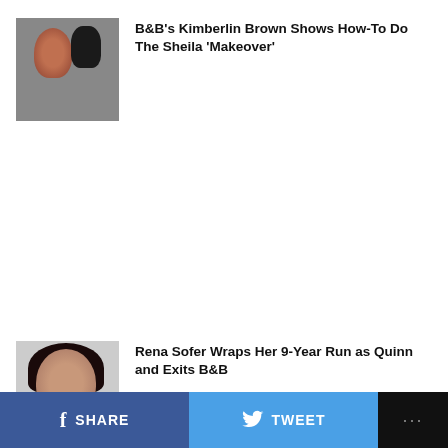[Figure (photo): Thumbnail image showing a woman with red hair in dark clothing and a man in dark suit, dark dramatic scene]
B&B’s Kimberlin Brown Shows How-To Do The Sheila ‘Makeover’
[Figure (photo): Headshot of a dark-haired woman against a light gray background, professional portrait]
Rena Sofer Wraps Her 9-Year Run as Quinn and Exits B&B
SHARE   TWEET   ...